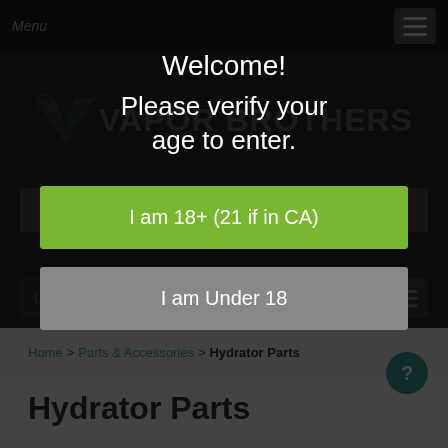Menu
Welcome!
Please verify your age to enter.
I am 18+ (21 if in CA)
I am Under 18
Home > Parts & Accessories > Hydrator Parts
Hydrator Parts